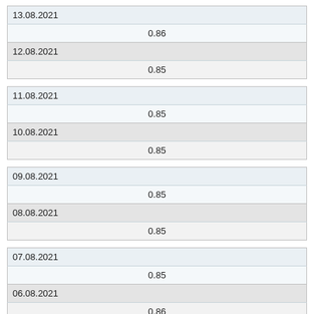| 13.08.2021 |
| 0.86 |
| 12.08.2021 |
| 0.85 |
| 11.08.2021 |
| 0.85 |
| 10.08.2021 |
| 0.85 |
| 09.08.2021 |
| 0.85 |
| 08.08.2021 |
| 0.85 |
| 07.08.2021 |
| 0.85 |
| 06.08.2021 |
| 0.86 |